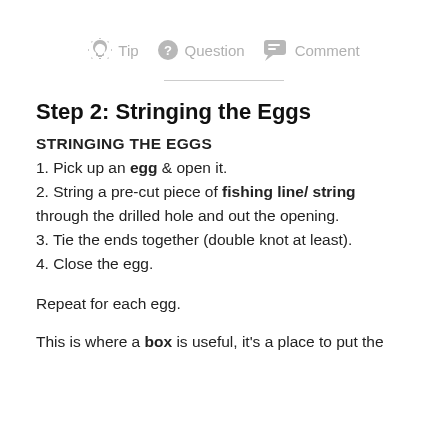[Figure (infographic): Three icons in a row: a lightbulb with label 'Tip', a question mark circle with label 'Question', and a speech bubble with label 'Comment', all in light gray.]
Step 2: Stringing the Eggs
STRINGING THE EGGS
1. Pick up an egg & open it.
2. String a pre-cut piece of fishing line/ string through the drilled hole and out the opening.
3. Tie the ends together (double knot at least).
4. Close the egg.
Repeat for each egg.
This is where a box is useful, it's a place to put the